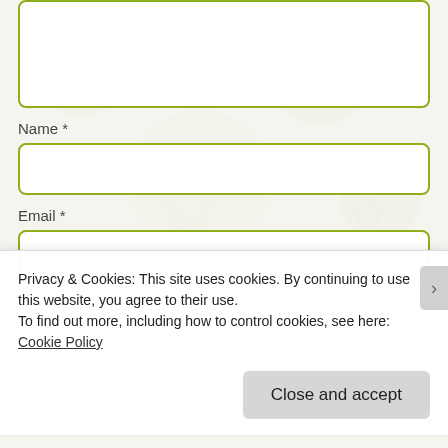[Figure (screenshot): A comment form textarea (top portion visible) with olive/yellow-green border on white background with decorative floral watermark]
Name *
[Figure (screenshot): Name input field with olive/yellow-green border]
Email *
[Figure (screenshot): Email input field with olive/yellow-green border (partially visible behind cookie banner)]
Privacy & Cookies: This site uses cookies. By continuing to use this website, you agree to their use.
To find out more, including how to control cookies, see here: Cookie Policy
Close and accept